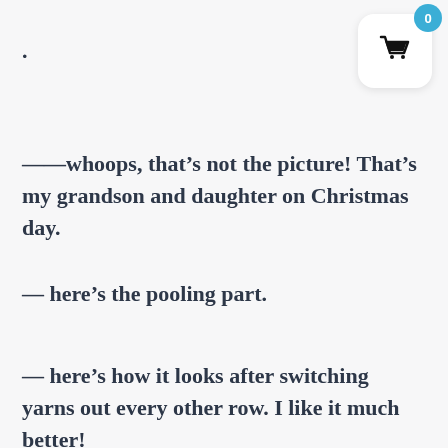.
[Figure (illustration): Shopping cart icon in a white rounded square with a blue badge showing 0]
——whoops, that’s not the picture! That’s my grandson and daughter on Christmas day.
— here’s the pooling part.
— here’s how it looks after switching yarns out every other row. I like it much better!